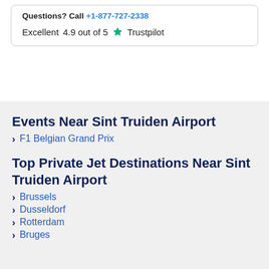Questions? Call +1-877-727-2338
Excellent  4.9 out of 5  ★ Trustpilot
Events Near Sint Truiden Airport
F1 Belgian Grand Prix
Top Private Jet Destinations Near Sint Truiden Airport
Brussels
Dusseldorf
Rotterdam
Bruges